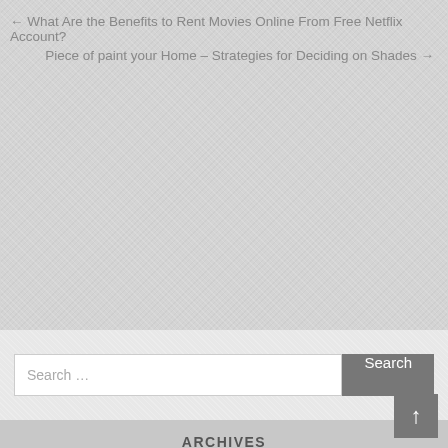← What Are the Benefits to Rent Movies Online From Free Netflix Account?
Piece of paint your Home – Strategies for Deciding on Shades →
Search ...
ARCHIVES
August 2022
July 2022
June 2022
May 2022
April 2022